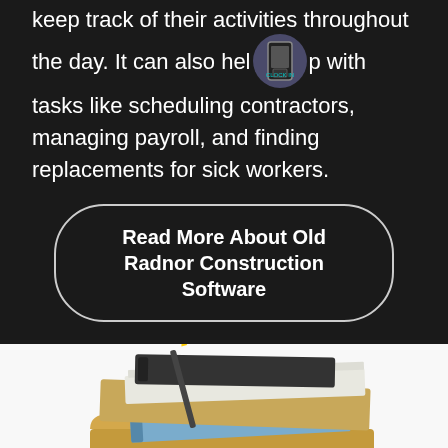keep track of their activities throughout the day. It can also help with tasks like scheduling contractors, managing payroll, and finding replacements for sick workers.
Read More About Old Radnor Construction Software
[Figure (photo): A woman with dark hair resting her head on a desk, with a large stack of folders, notebooks, and papers piled on top of her head, suggesting being overwhelmed with paperwork.]